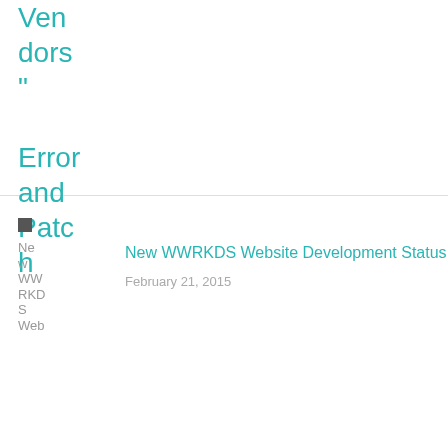Vendors” Error and Patch
New WWRKDS Website Development Status
February 21, 2015